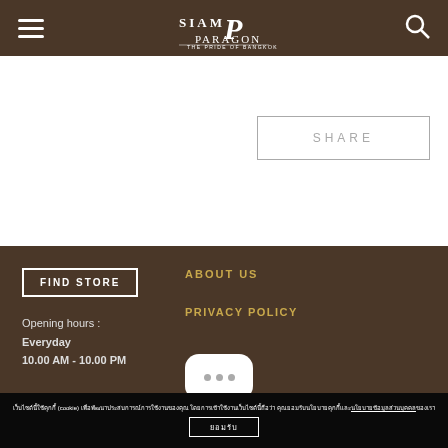Siam Paragon
SHARE
FIND STORE
Opening hours :
Everyday
10.00 AM - 10.00 PM
ABOUT US
PRIVACY POLICY
[Figure (illustration): Chat bubble icon with three dots]
เว็บไซต์นี้ใช้คุกกี้ (cookie) เพื่อพัฒนาประสบการณ์การใช้งานของคุณ โดยการเข้าใช้งานเว็บไซต์นี้ถือว่าคุณยอมรับนโยบายคุกกี้และนโยบายข้อมูลส่วนบุคคลของเรา
ยอมรับ